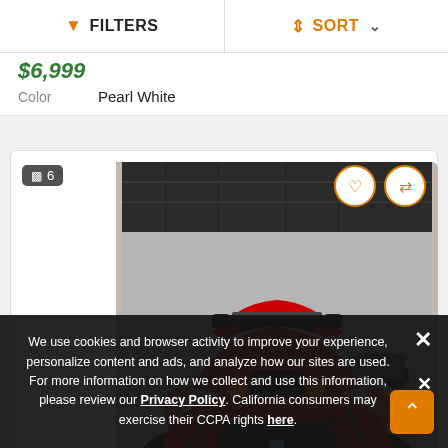FILTERS   SORT
$6,999
Color   Pearl White
[Figure (photo): Red ATV/quad vehicle displayed in a dealership showroom, front-facing view showing aggressive styling with black and red color scheme. Badge showing 6 photos in top-left corner.]
We use cookies and browser activity to improve your experience, personalize content and ads, and analyze how our sites are used. For more information on how we collect and use this information, please review our Privacy Policy. California consumers may exercise their CCPA rights here.